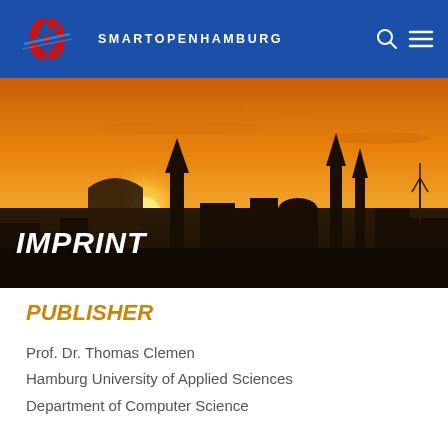SMARTOPENHAMBURG
[Figure (photo): Hamburg city skyline silhouetted against an orange and golden sunset sky, with church spires and buildings visible]
IMPRINT
PUBLISHER
Prof. Dr. Thomas Clemen
Hamburg University of Applied Sciences
Department of Computer Science